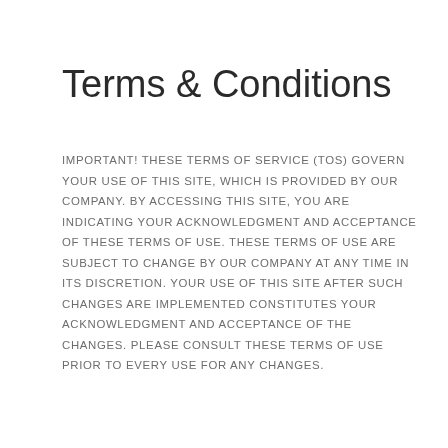Terms & Conditions
IMPORTANT! THESE TERMS OF SERVICE (TOS) GOVERN YOUR USE OF THIS SITE, WHICH IS PROVIDED BY OUR COMPANY. BY ACCESSING THIS SITE, YOU ARE INDICATING YOUR ACKNOWLEDGMENT AND ACCEPTANCE OF THESE TERMS OF USE. THESE TERMS OF USE ARE SUBJECT TO CHANGE BY OUR COMPANY AT ANY TIME IN ITS DISCRETION. YOUR USE OF THIS SITE AFTER SUCH CHANGES ARE IMPLEMENTED CONSTITUTES YOUR ACKNOWLEDGMENT AND ACCEPTANCE OF THE CHANGES. PLEASE CONSULT THESE TERMS OF USE PRIOR TO EVERY USE FOR ANY CHANGES.